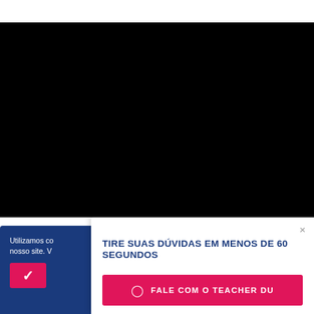[Figure (screenshot): Black video/media player area occupying upper portion of the page]
Utilizamos co nosso site. V
[Figure (screenshot): Pink/red checkmark button (cookie acceptance button)]
TIRE SUAS DÚVIDAS EM MENOS DE 60 SEGUNDOS
FALE COM O TEACHER DU